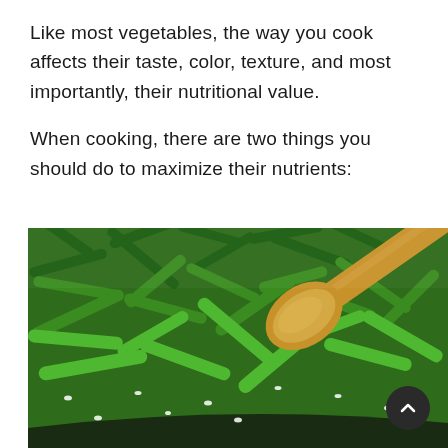Like most vegetables, the way you cook affects their taste, color, texture, and most importantly, their nutritional value.
When cooking, there are two things you should do to maximize their nutrients:
[Figure (photo): Close-up photo of chopped green beans being stirred in a dark skillet pan with a wooden spoon. The beans are bright green and glistening, with small white sesame seeds visible.]